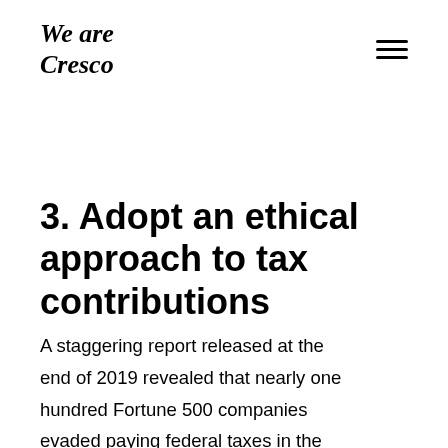We are Cresco
3. Adopt an ethical approach to tax contributions
A staggering report released at the end of 2019 revealed that nearly one hundred Fortune 500 companies evaded paying federal taxes in the previous year — including major brands such as Amazon,